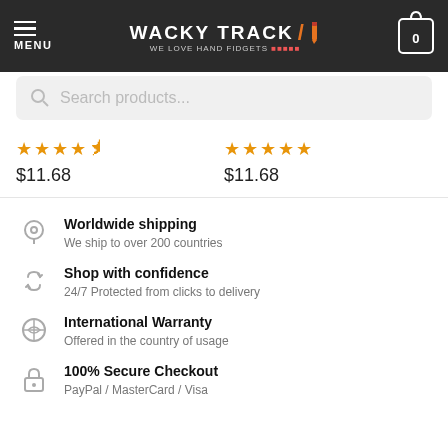MENU | WACKY TRACK / WE LOVE HAND FIDGETS | 0
Search products...
★★★★½ $11.68
★★★★★ $11.68
Worldwide shipping
We ship to over 200 countries
Shop with confidence
24/7 Protected from clicks to delivery
International Warranty
Offered in the country of usage
100% Secure Checkout
PayPal / MasterCard / Visa